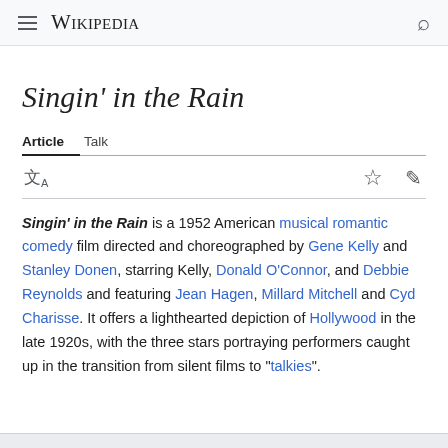Wikipedia
Singin' in the Rain
Article  Talk
Singin' in the Rain is a 1952 American musical romantic comedy film directed and choreographed by Gene Kelly and Stanley Donen, starring Kelly, Donald O'Connor, and Debbie Reynolds and featuring Jean Hagen, Millard Mitchell and Cyd Charisse. It offers a lighthearted depiction of Hollywood in the late 1920s, with the three stars portraying performers caught up in the transition from silent films to "talkies".